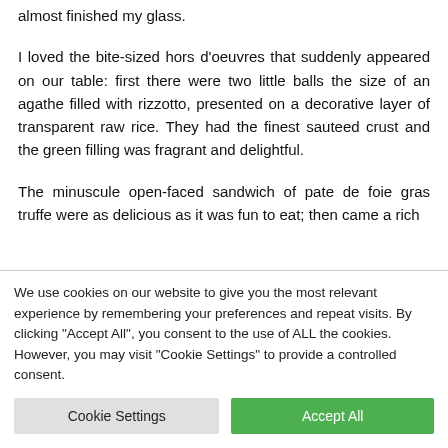almost finished my glass.
I loved the bite-sized hors d'oeuvres that suddenly appeared on our table: first there were two little balls the size of an agathe filled with rizzotto, presented on a decorative layer of transparent raw rice. They had the finest sauteed crust and the green filling was fragrant and delightful.
The minuscule open-faced sandwich of pate de foie gras truffe were as delicious as it was fun to eat; then came a rich
We use cookies on our website to give you the most relevant experience by remembering your preferences and repeat visits. By clicking "Accept All", you consent to the use of ALL the cookies. However, you may visit "Cookie Settings" to provide a controlled consent.
Cookie Settings
Accept All